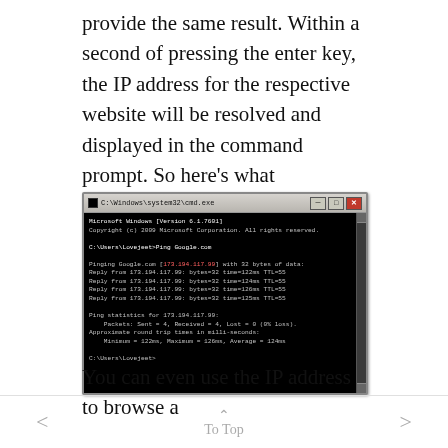provide the same result. Within a second of pressing the enter key, the IP address for the respective website will be resolved and displayed in the command prompt. So here’s what Google.com’s IP address is.
[Figure (screenshot): Windows command prompt screenshot showing a ping to Google.com. Title bar reads C:\Windows\system32\cmd.exe. The terminal shows: Microsoft Windows [Version 6.1.7601], Copyright (c) 2009 Microsoft Corporation. All rights reserved. C:\Users\Lovejeet>Ping Google.com. Pinging Google.com [173.194.117.99] with 32 bytes of data: Reply from 173.194.117.99: bytes=32 time=122ms TTL=55, Reply from 173.194.117.99: bytes=32 time=124ms TTL=55, Reply from 173.194.117.99: bytes=32 time=126ms TTL=55, Reply from 173.194.117.99: bytes=32 time=125ms TTL=55. Ping statistics for 173.194.117.99: Packets: Sent = 4, Received = 4, Lost = 0 (0% loss). Approximate round trip times in milli-seconds: Minimum = 122ms, Maximum = 126ms, Average = 124ms. C:\Users\Lovejeet>]
You can even use the IP address to browse a
< To Top >